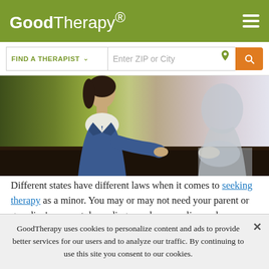GoodTherapy®
[Figure (screenshot): Search bar with 'FIND A THERAPIST' dropdown and 'Enter ZIP or City' input with location pin icon and orange search button]
[Figure (photo): Two people in therapy session, person in denim jacket leaning forward toward another person]
Different states have different laws when it comes to seeking therapy as a minor. You may or may not need your parent or guardian's consent depending on where you live and your state's legal definition of mature.
GoodTherapy uses cookies to personalize content and ads to provide better services for our users and to analyze our traffic. By continuing to use this site you consent to our cookies.